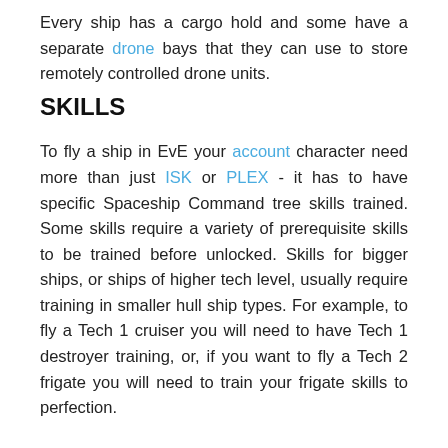Every ship has a cargo hold and some have a separate drone bays that they can use to store remotely controlled drone units.
SKILLS
To fly a ship in EvE your account character need more than just ISK or PLEX - it has to have specific Spaceship Command tree skills trained. Some skills require a variety of prerequisite skills to be trained before unlocked. Skills for bigger ships, or ships of higher tech level, usually require training in smaller hull ship types. For example, to fly a Tech 1 cruiser you will need to have Tech 1 destroyer training, or, if you want to fly a Tech 2 frigate you will need to train your frigate skills to perfection.